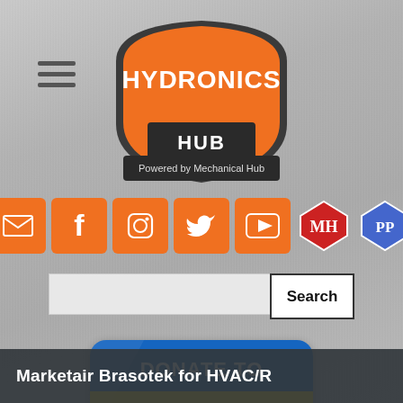[Figure (logo): Hydronics Hub logo - orange shield shape with HYDRONICS HUB text, Powered by Mechanical Hub subtitle]
[Figure (infographic): Hamburger menu icon - three horizontal lines]
[Figure (infographic): Row of social media icon buttons: email (envelope), Facebook, Instagram, Twitter, YouTube (all orange), MH badge, PP badge]
[Figure (infographic): Search bar with text input and Search button]
[Figure (illustration): DONATE TO UKRAINE button with Ukrainian flag colors (blue top, yellow bottom), rounded rectangle]
Marketair Brasotek for HVAC/R